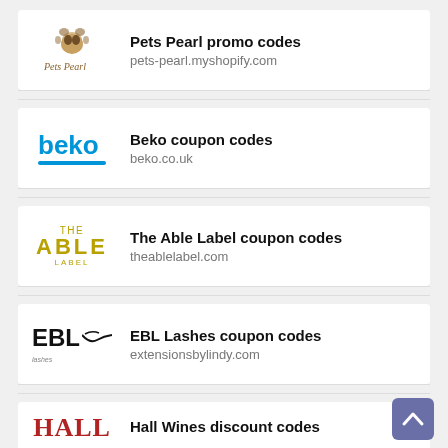Pets Pearl promo codes
pets-pearl.myshopify.com
Beko coupon codes
beko.co.uk
The Able Label coupon codes
theablelabel.com
EBL Lashes coupon codes
extensionsbylindy.com
Hall Wines discount codes